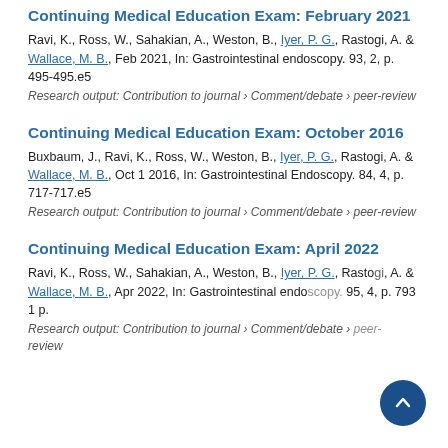Continuing Medical Education Exam: February 2021
Ravi, K., Ross, W., Sahakian, A., Weston, B., Iyer, P. G., Rastogi, A. & Wallace, M. B., Feb 2021, In: Gastrointestinal endoscopy. 93, 2, p. 495-495.e5
Research output: Contribution to journal › Comment/debate › peer-review
Continuing Medical Education Exam: October 2016
Buxbaum, J., Ravi, K., Ross, W., Weston, B., Iyer, P. G., Rastogi, A. & Wallace, M. B., Oct 1 2016, In: Gastrointestinal Endoscopy. 84, 4, p. 717-717.e5
Research output: Contribution to journal › Comment/debate › peer-review
Continuing Medical Education Exam: April 2022
Ravi, K., Ross, W., Sahakian, A., Weston, B., Iyer, P. G., Rastogi, A. & Wallace, M. B., Apr 2022, In: Gastrointestinal endo... 95, 4, p. 793 1 p.
Research output: Contribution to journal › Comment/debate › peer-review